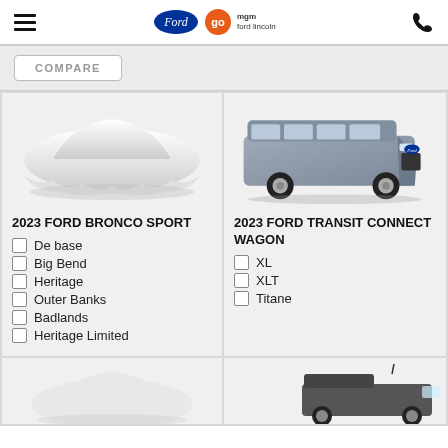Go MGM Ford Lincoln — navigation header
COMPARE
2023 FORD BRONCO SPORT
De base
Big Bend
Heritage
Outer Banks
Badlands
Heritage Limited
2023 FORD TRANSIT CONNECT WAGON
XL
XLT
Titane